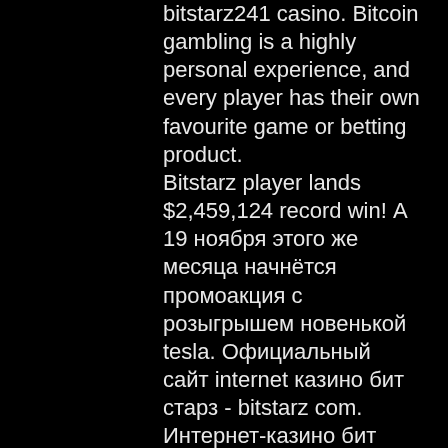bitstarz241 casino. Bitcoin gambling is a highly personal experience, and every player has their own favourite game or betting product. Bitstarz player lands $2,459,124 record win! А 19 ноября этого же месяца начнётся промоакция с розыгрышем новенькой tesla. Официальный сайт internet казино бит старз - bitstarz com. Интернет-казино бит старз - это еще одни мошенники, которые зарабатывают на эмоциях игроков. Bitstarz is the king of game selection of all the real money gambling sites. Выиграй €50,000 и роскошную поездку в италию в новогоднем приключении bitstarz! роскошная поездка, индивидуальный призовой фонд в. Приветствую вас дорогие читатели. 19 августа 2018 года я познакомился с онлайн заведением bitstarz, увидел на каком-то форуме что за регистрацию можно. Bitstarz – best variety of bitcoin